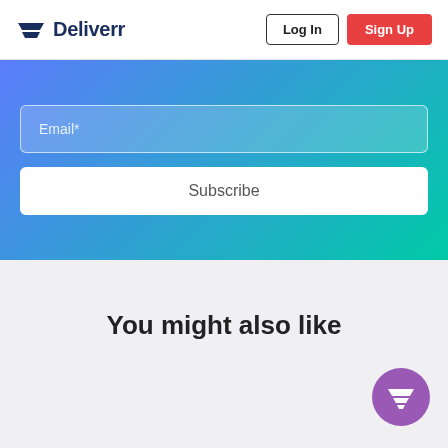Deliverr — Log In | Sign Up
Email*
Subscribe
You might also like
[Figure (logo): Deliverr floating chat/action button with shopping cart icon in purple circle]